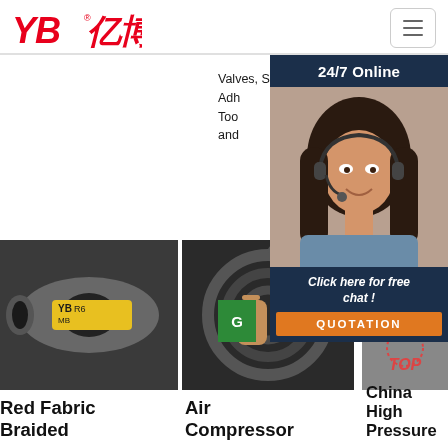[Figure (logo): YB亿博 company logo in red italic font]
[Figure (infographic): 24/7 Online chat widget with woman wearing headset, dark navy background, quotation button]
Valves, Sprays and Adhesives, Tools and
[Figure (photo): Red Fabric Braided hydraulic hose with yellow label showing MB R6]
[Figure (photo): Air compressor hose coils, close-up of black rubber hoses]
[Figure (photo): China High Pressure hose with YIBO EN 856 4SH label]
Red Fabric Braided
Air Compressor
China High Pressure